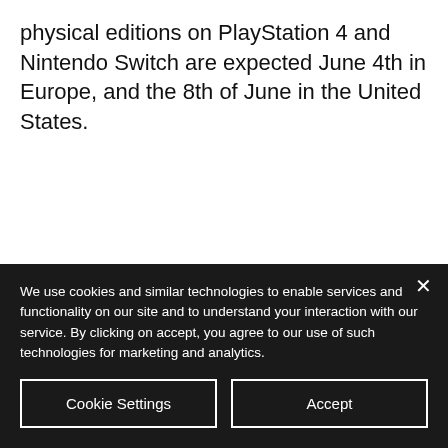physical editions on PlayStation 4 and Nintendo Switch are expected June 4th in Europe, and the 8th of June in the United States.
We use cookies and similar technologies to enable services and functionality on our site and to understand your interaction with our service. By clicking on accept, you agree to our use of such technologies for marketing and analytics.
Cookie Settings
Accept